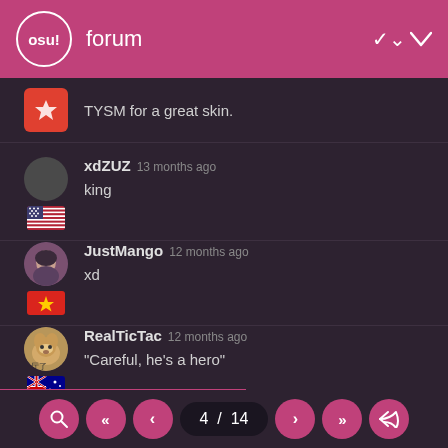osu! forum
TYSM for a great skin.
xdZUZ 13 months ago
king
JustMango 12 months ago
xd
RealTicTac 12 months ago
"Careful, he's a hero"
Xanohana 12 months ago
4 / 14